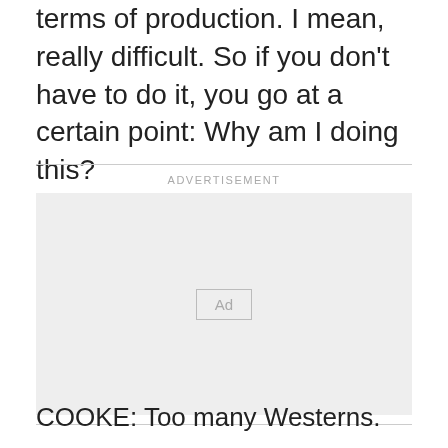terms of production. I mean, really difficult. So if you don't have to do it, you go at a certain point: Why am I doing this?
[Figure (other): Advertisement placeholder box with 'Ad' label in center]
COOKE: Too many Westerns.